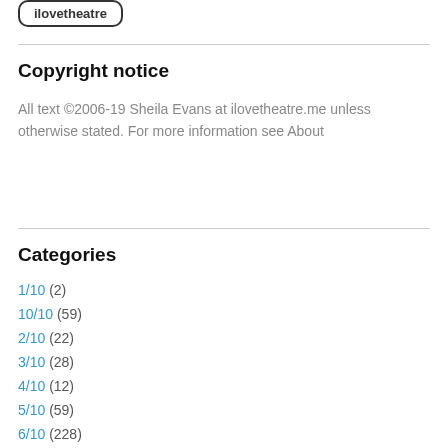[Figure (logo): Logo button shape with rounded rectangle border]
Copyright notice
All text ©2006-19 Sheila Evans at ilovetheatre.me unless otherwise stated. For more information see About
Categories
1/10 (2)
10/10 (59)
2/10 (22)
3/10 (28)
4/10 (12)
5/10 (59)
6/10 (228)
7/10 (141)
8/10 (230)